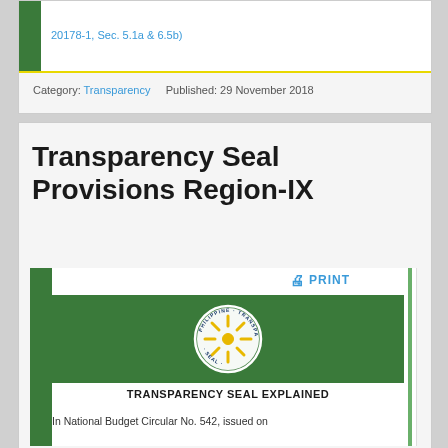20178-1, Sec. 5.1a & 6.5b)
Category: Transparency    Published: 29 November 2018
Transparency Seal Provisions Region-IX
PRINT
[Figure (logo): Philippine Transparency Seal circular logo with gold sun design on green background]
TRANSPARENCY SEAL EXPLAINED
In National Budget Circular No. 542, issued on